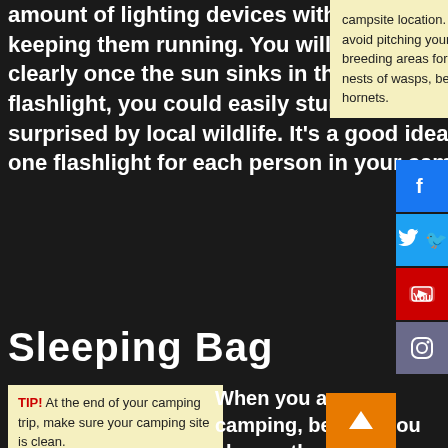amount of lighting devices with you, as well as means of keeping them running. You will need a light source to see clearly once the sun sinks in the sky. Without a flashlight, you could easily stumble and fall or be surprised by local wildlife. It’s a good idea to bring along one flashlight for each person in your camping party.
campsite location. You should avoid pitching your tent near breeding areas for insects or nests of wasps, bees and hornets.
[Figure (infographic): Social media buttons: Facebook (blue), Twitter (blue), YouTube (red), Instagram (gray)]
Sleeping Bag
TIP! At the end of your camping trip, make sure your camping site is clean.
When you are camping, be sure you choose the right sleeping bag for the site conditions. weather calls for a lightweight bag, while heavier bags are